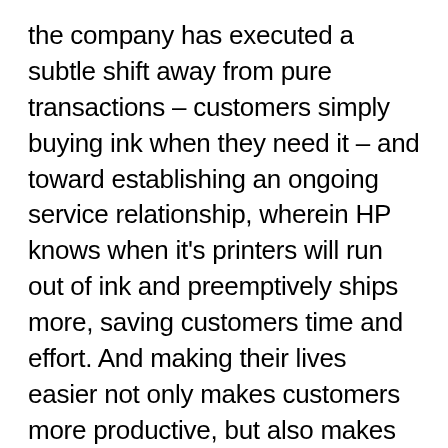the company has executed a subtle shift away from pure transactions – customers simply buying ink when they need it – and toward establishing an ongoing service relationship, wherein HP knows when it's printers will run out of ink and preemptively ships more, saving customers time and effort. And making their lives easier not only makes customers more productive, but also makes them happy and generates loyalty. Research by CEB Board on Low effort correlates with loyalty over time, which of course correlates with retention. Low effort design points to many initiatives including good on-boarding, CRM management, in-app help and notifications, self service, minimal channel switching (Web>